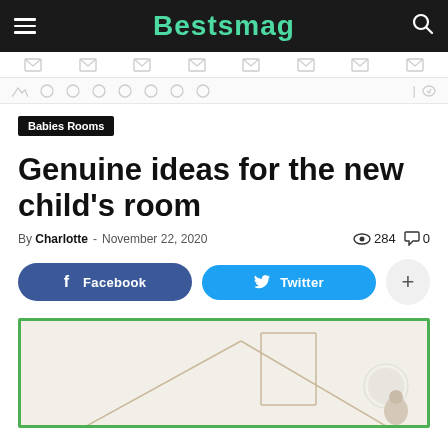Bestsmag
Babies Rooms
Genuine ideas for the new child's room
By Charlotte - November 22, 2020  284  0
[Figure (screenshot): Article image showing a child's room with geometric lines on the wall and a small figure visible]
Facebook  Twitter  +